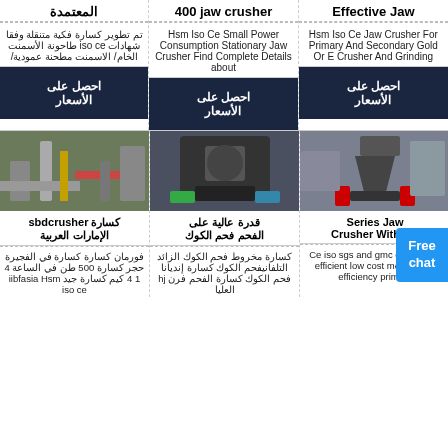المعتمدة
400 jaw crusher
Effective Jaw
تم تطوير كسارة فكية متنقلة وفقا شهادات iso ce طاحونة الأسمنت الخام/ الاسمنت مطحنة عمودية/
Hsm Iso Ce Small Power Consumption Stationary Jaw Crusher Find Complete Details about
Hsm Iso Ce Jaw Crusher For Primary And Secondary Gold Or E Crusher And Grinding
احصل على الأسعار
احصل على الأسعار
احصل على الأسعار
[Figure (photo): Industrial machinery with pipes, yellow equipment visible]
[Figure (photo): Jaw crusher machine in industrial setting]
[Figure (photo): Cone crusher machine in industrial hall]
كسارة sbdcrusher الإمارات العربية
قدرة عالية على الفحم فحم الكوك
Series Jaw Crusher With Iso
فورمان كسارة كسارة في الفجيرة حجر كسارة 500 طن في الساعة 4 1 4 كيم كسارة جيد iibfasia Hsm iso ce
كسارة مخروط فحم الكوك الزائد التلفانيفحم الكوك كسارة إندیانا فحم الكوك كسارة الفحم فرن hj العليا
Ce iso sgs and gmc certificates efficient low cost mobile high efficiency primary